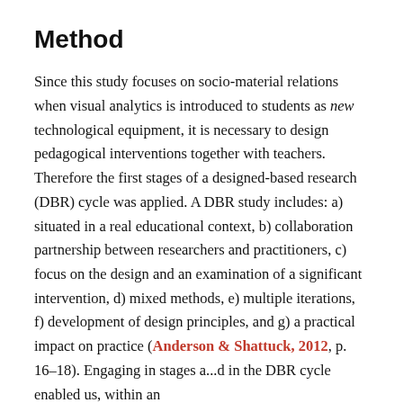Method
Since this study focuses on socio-material relations when visual analytics is introduced to students as new technological equipment, it is necessary to design pedagogical interventions together with teachers. Therefore the first stages of a designed-based research (DBR) cycle was applied. A DBR study includes: a) situated in a real educational context, b) collaboration partnership between researchers and practitioners, c) focus on the design and an examination of a significant intervention, d) mixed methods, e) multiple iterations, f) development of design principles, and g) a practical impact on practice (Anderson & Shattuck, 2012, p. 16–18). Engaging in stages a...d in the DBR cycle enabled us, within an